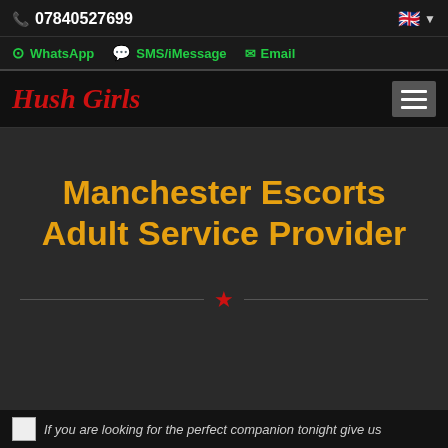07840527699
WhatsApp  SMS/iMessage  Email
Hush Girls
Manchester Escorts Adult Service Provider
If you are looking for the perfect companion tonight give us